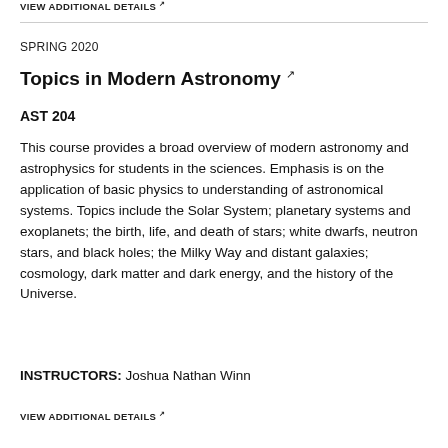VIEW ADDITIONAL DETAILS ↗
SPRING 2020
Topics in Modern Astronomy ↗
AST 204
This course provides a broad overview of modern astronomy and astrophysics for students in the sciences. Emphasis is on the application of basic physics to understanding of astronomical systems. Topics include the Solar System; planetary systems and exoplanets; the birth, life, and death of stars; white dwarfs, neutron stars, and black holes; the Milky Way and distant galaxies; cosmology, dark matter and dark energy, and the history of the Universe.
INSTRUCTORS:  Joshua Nathan Winn
VIEW ADDITIONAL DETAILS ↗